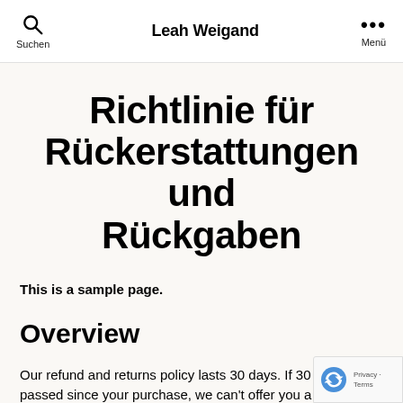Suchen | Leah Weigand | Menü
Richtlinie für Rückerstattungen und Rückgaben
This is a sample page.
Overview
Our refund and returns policy lasts 30 days. If 30 days have passed since your purchase, we can't offer you a